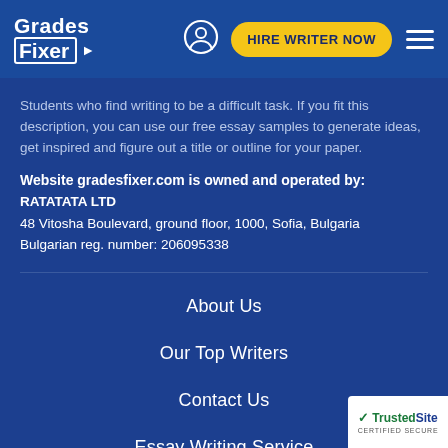Grades Fixer — HIRE WRITER NOW
Students who find writing to be a difficult task. If you fit this description, you can use our free essay samples to generate ideas, get inspired and figure out a title or outline for your paper.
Website gradesfixer.com is owned and operated by: RATATATA LTD
48 Vitosha Boulevard, ground floor, 1000, Sofia, Bulgaria
Bulgarian reg. number: 206095338
About Us
Our Top Writers
Contact Us
Essay Writing Service
Essay Grading Service
Donate Essay
[Figure (logo): TrustedSite Certified Secure badge in bottom-right corner]